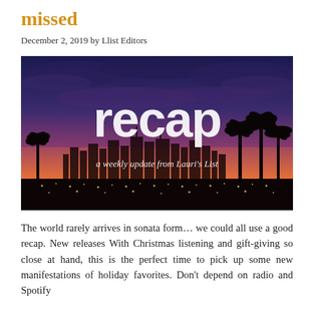missed
December 2, 2019 by Llist Editors
[Figure (photo): A cityscape at sunset/dusk showing a city skyline with palm trees silhouetted against an orange and purple sky, with city lights visible. White text overlay reads 'recap' in large letters and 'a weekly update from Lauri's List' in smaller text below.]
The world rarely arrives in sonata form… we could all use a good recap. New releases With Christmas listening and gift-giving so close at hand, this is the perfect time to pick up some new manifestations of holiday favorites. Don't depend on radio and Spotify